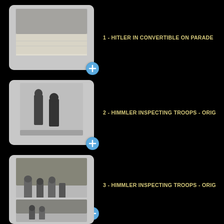[Figure (photo): Thumbnail of historical photo: Hitler in convertible on parade]
1 - HITLER IN CONVERTIBLE ON PARADE
[Figure (photo): Thumbnail of historical photo: Himmler inspecting troops - original]
2 - HIMMLER INSPECTING TROOPS - ORIG
[Figure (photo): Thumbnail of historical photo: Himmler inspecting troops - original]
3 - HIMMLER INSPECTING TROOPS - ORIG
[Figure (photo): Thumbnail of historical photo (partially visible, 4th item)]